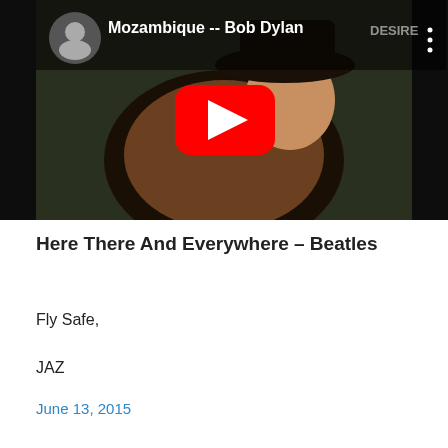[Figure (screenshot): YouTube video thumbnail for 'Mozambique -- Bob Dylan' showing a man in a wide-brimmed hat and fur coat, with a red YouTube play button in the center. The video title and channel avatar are visible in the top-left corner, and the word DESIRE appears in the top-right corner.]
Here There And Everywhere – Beatles
Fly Safe,

JAZ
June 13, 2015